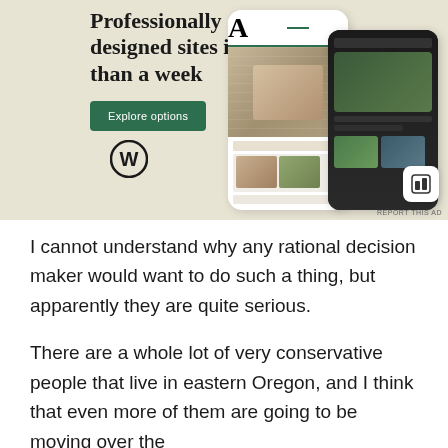[Figure (illustration): WordPress advertisement banner with beige/tan background showing text 'Professionally designed sites in less than a week', a green 'Explore options' button, WordPress logo (W in circle), and phone mockups showing website designs including food photography]
REPORT THIS AD
I cannot understand why any rational decision maker would want to do such a thing, but apparently they are quite serious.
There are a whole lot of very conservative people that live in eastern Oregon, and I think that even more of them are going to be moving over the